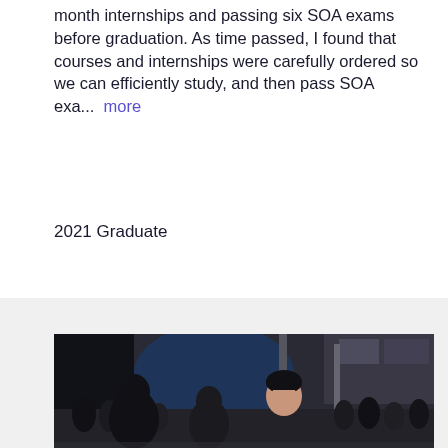month internships and passing six SOA exams before graduation. As time passed, I found that courses and internships were carefully ordered so we can efficiently study, and then pass SOA exa...  more
2021 Graduate
[Figure (photo): A young man turning to look at the camera, smiling, in a crowded outdoor/covered area at night with many people in the background and blue lighting visible.]